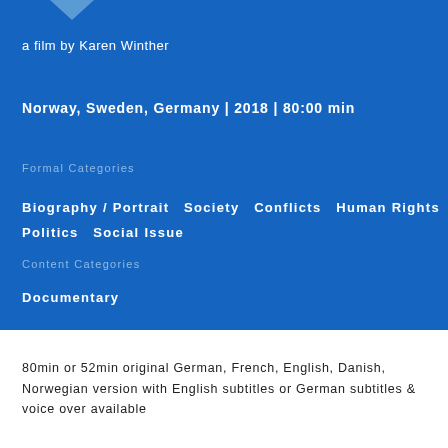a film by Karen Winther
Norway, Sweden, Germany | 2018 | 80:00 min
Formal Categories
Biography / Portrait   Society   Conflicts   Human Rights   Politics   Social Issue
Content Categories
Documentary
80min or 52min original German, French, English, Danish, Norwegian version with English subtitles or German subtitles & voice over available